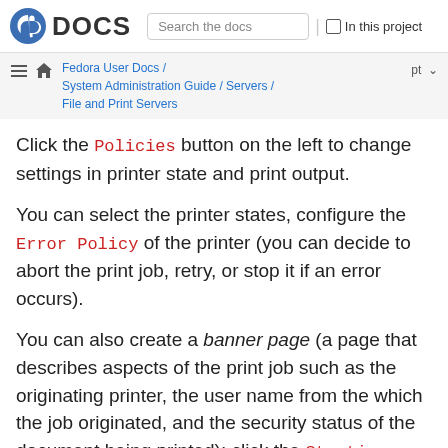DOCS | Search the docs | In this project
Fedora User Docs / System Administration Guide / Servers / File and Print Servers | pt
Click the Policies button on the left to change settings in printer state and print output.
You can select the printer states, configure the Error Policy of the printer (you can decide to abort the print job, retry, or stop it if an error occurs).
You can also create a banner page (a page that describes aspects of the print job such as the originating printer, the user name from the which the job originated, and the security status of the document being printed): click the Starting Banner or Ending Banner drop-down menu and